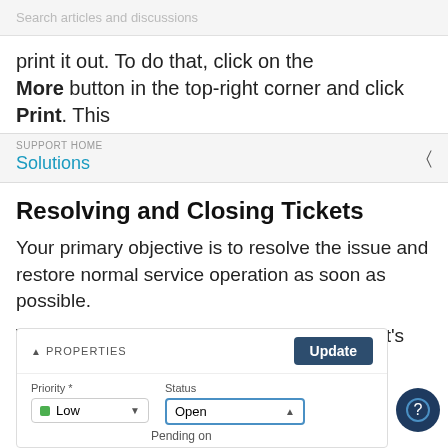Search articles and discussions
print it out. To do that, click on the More button in the top-right corner and click Print. This
SUPPORT HOME
Solutions
Resolving and Closing Tickets
Your primary objective is to resolve the issue and restore normal service operation as soon as possible.
When you do that, you can change the ticket's status to resolved from the Ticket Properties Section.
[Figure (screenshot): Screenshot of a ticket properties panel showing PROPERTIES header with Update button, Priority field set to Low (green indicator), and Status field set to Open with a dropdown, and Pending on text below.]